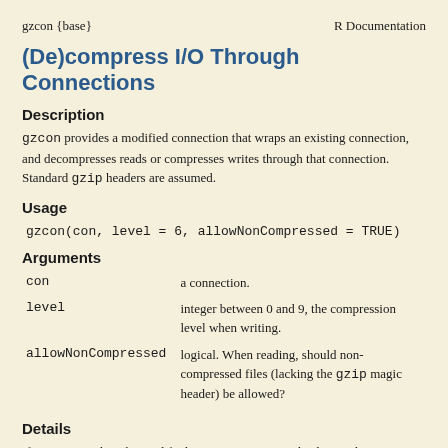gzcon {base}    R Documentation
(De)compress I/O Through Connections
Description
gzcon provides a modified connection that wraps an existing connection, and decompresses reads or compresses writes through that connection. Standard gzip headers are assumed.
Usage
gzcon(con, level = 6, allowNonCompressed = TRUE)
Arguments
| Argument | Description |
| --- | --- |
| con | a connection. |
| level | integer between 0 and 9, the compression level when writing. |
| allowNonCompressed | logical. When reading, should non-compressed files (lacking the gzip magic header) be allowed? |
Details
If con is open then the modified connection is opened. Closing the